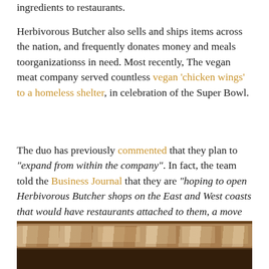ingredients to restaurants.
Herbivorous Butcher also sells and ships items across the nation, and frequently donates money and meals toorganizationss in need. Most recently, The vegan meat company served countless vegan 'chicken wings' to a homeless shelter, in celebration of the Super Bowl.
The duo has previously commented that they plan to "expand from within the company". In fact, the team told the Business Journal that they are "hoping to open Herbivorous Butcher shops on the East and West coasts that would have restaurants attached to them, a move that would let them source locally from those areas."
[Figure (photo): Close-up photo of what appears to be a vegan sandwich or food item with a textured, toasted crust visible, on a dark background.]